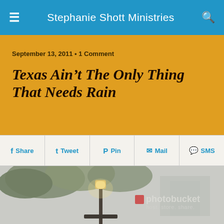Stephanie Shott Ministries
September 13, 2011 · 1 Comment
Texas Ain't The Only Thing That Needs Rain
Share  Tweet  Pin  Mail  SMS
[Figure (photo): Rainy day scene with a glowing street lamp post and tree in the background, Photobucket watermark overlay reading 'host. store. share.']